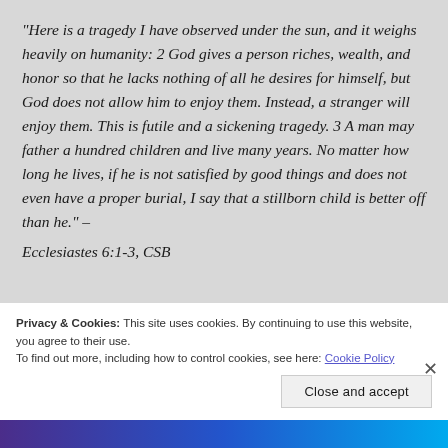“Here is a tragedy I have observed under the sun, and it weighs heavily on humanity: 2 God gives a person riches, wealth, and honor so that he lacks nothing of all he desires for himself, but God does not allow him to enjoy them. Instead, a stranger will enjoy them. This is futile and a sickening tragedy. 3 A man may father a hundred children and live many years. No matter how long he lives, if he is not satisfied by good things and does not even have a proper burial, I say that a stillborn child is better off than he.” – Ecclesiastes 6:1-3, CSB
Privacy & Cookies: This site uses cookies. By continuing to use this website, you agree to their use.
To find out more, including how to control cookies, see here: Cookie Policy
Close and accept